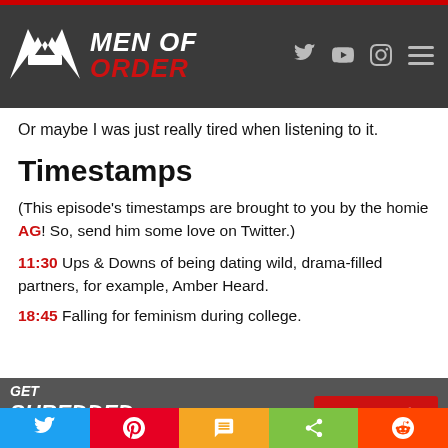MEN OF ORDER
Or maybe I was just really tired when listening to it.
Timestamps
(This episode's timestamps are brought to you by the homie AG! So, send him some love on Twitter.)
11:30 Ups & Downs of being dating wild, drama-filled partners, for example, Amber Heard.
18:45 Falling for feminism during college.
[Figure (infographic): Ad banner: GET SHREDDED FOR SUMMER WITH THESE [products] - SHOP NOW button]
Social share bar: Twitter, Pinterest, SMS, Share, Reddit